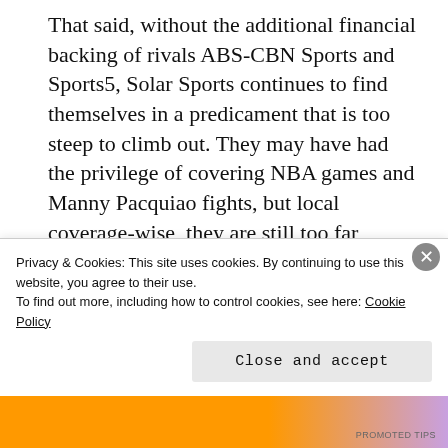That said, without the additional financial backing of rivals ABS-CBN Sports and Sports5, Solar Sports continues to find themselves in a predicament that is too steep to climb out. They may have had the privilege of covering NBA games and Manny Pacquiao fights, but local coverage-wise, they are still too far behind to make an impact.
Sponsored Content
Privacy & Cookies: This site uses cookies. By continuing to use this website, you agree to their use.
To find out more, including how to control cookies, see here: Cookie Policy
Close and accept